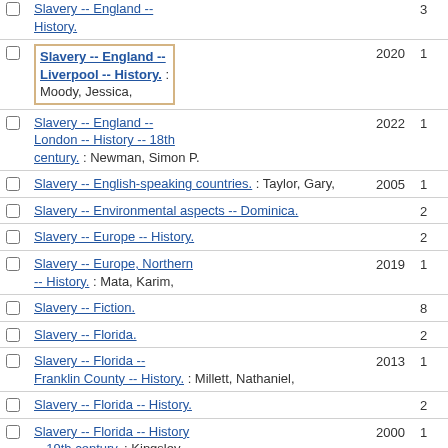Slavery -- England -- History. [count: 3]
Slavery -- England -- Liverpool -- History. : Moody, Jessica, [year: 2020, count: 1]
Slavery -- England -- London -- History -- 18th century. : Newman, Simon P. [year: 2022, count: 1]
Slavery -- English-speaking countries. : Taylor, Gary, [year: 2005, count: 1]
Slavery -- Environmental aspects -- Dominica. [count: 2]
Slavery -- Europe -- History. [count: 2]
Slavery -- Europe, Northern -- History. : Mata, Karim, [year: 2019, count: 1]
Slavery -- Fiction. [count: 8]
Slavery -- Florida. [count: 2]
Slavery -- Florida -- Franklin County -- History. : Millett, Nathaniel, [year: 2013, count: 1]
Slavery -- Florida -- History. [count: 2]
Slavery -- Florida -- History -- 19th century. : Kingsley, [year: 2000, count: 1]